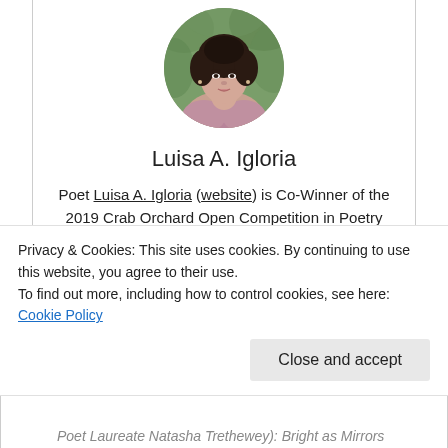[Figure (photo): Circular portrait photo of Luisa A. Igloria, a woman with dark hair, wearing a pink/mauve top, with green foliage background]
Luisa A. Igloria
Poet Luisa A. Igloria (website) is Co-Winner of the 2019 Crab Orchard Open Competition in Poetry for Maps for Migrants and Ghosts (Southern Illinois University Press, September 2020). She was appointed Poet Laureate of the Commonwealth of Virginia for 2020-22, and in 2021 received 1 of 23 Poet Laureate Fellowships from the Academy of American Poets and the Mellon
Privacy & Cookies: This site uses cookies. By continuing to use this website, you agree to their use.
To find out more, including how to control cookies, see here: Cookie Policy
Poet Laureate Natasha Trethewey): Bright as Mirrors